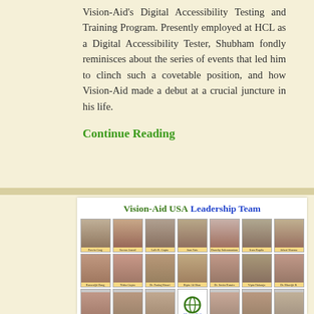Vision-Aid's Digital Accessibility Testing and Training Program. Presently employed at HCL as a Digital Accessibility Tester, Shubham fondly reminisces about the series of events that led him to clinch such a covetable position, and how Vision-Aid made a debut at a crucial juncture in his life.
Continue Reading
[Figure (photo): Vision-Aid USA Leadership Team photo collage showing three rows of headshots of board/leadership members with name labels beneath each photo.]